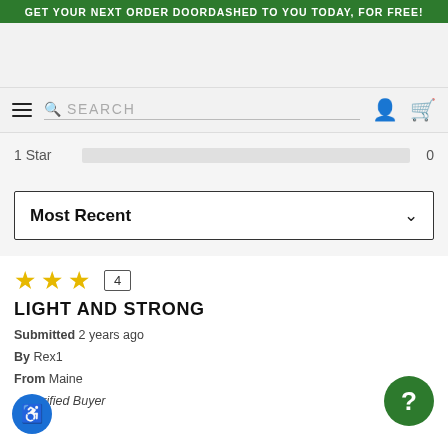GET YOUR NEXT ORDER DOORDASHED TO YOU TODAY, FOR FREE!
SEARCH
1 Star  0
Most Recent
★★★  4
LIGHT AND STRONG
Submitted 2 years ago
By Rex1
From Maine
Verified Buyer